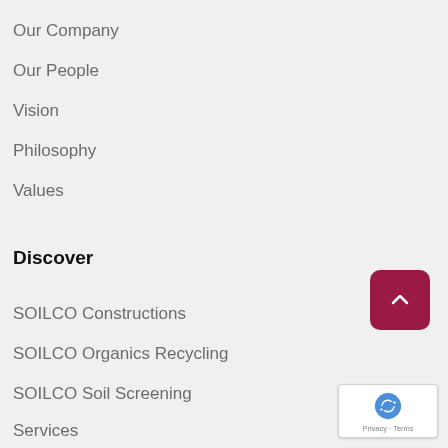Our Company
Our People
Vision
Philosophy
Values
Discover
SOILCO Constructions
SOILCO Organics Recycling
SOILCO Soil Screening
Services